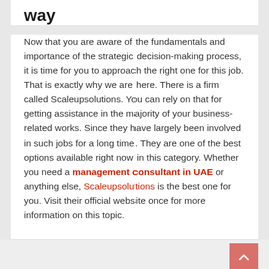way
Now that you are aware of the fundamentals and importance of the strategic decision-making process, it is time for you to approach the right one for this job. That is exactly why we are here. There is a firm called Scaleupsolutions. You can rely on that for getting assistance in the majority of your business-related works. Since they have largely been involved in such jobs for a long time. They are one of the best options available right now in this category. Whether you need a management consultant in UAE or anything else, Scaleupsolutions is the best one for you. Visit their official website once for more information on this topic.
Benefits of using Word Unscrambler with word counters